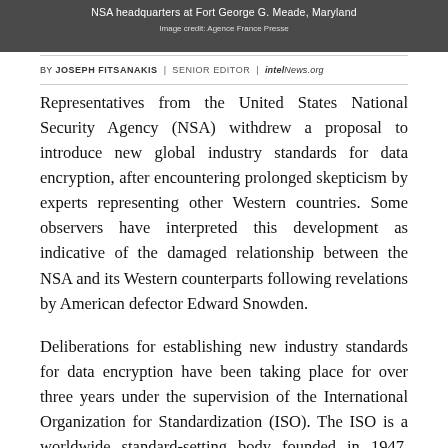[Figure (photo): NSA headquarters at Fort George G. Meade, Maryland. Image credit: Agence France Presse]
BY JOSEPH FITSANAKIS | SENIOR EDITOR | intelNews.org
Representatives from the United States National Security Agency (NSA) withdrew a proposal to introduce new global industry standards for data encryption, after encountering prolonged skepticism by experts representing other Western countries. Some observers have interpreted this development as indicative of the damaged relationship between the NSA and its Western counterparts following revelations by American defector Edward Snowden.
Deliberations for establishing new industry standards for data encryption have been taking place for over three years under the supervision of the International Organization for Standardization (ISO). The ISO is a worldwide standard-setting body founded in 1947, which